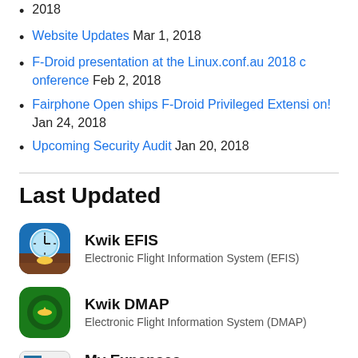2018
Website Updates Mar 1, 2018
F-Droid presentation at the Linux.conf.au 2018 conference Feb 2, 2018
Fairphone Open ships F-Droid Privileged Extension! Jan 24, 2018
Upcoming Security Audit Jan 20, 2018
Last Updated
Kwik EFIS
Electronic Flight Information System (EFIS)
Kwik DMAP
Electronic Flight Information System (DMAP)
My Expenses